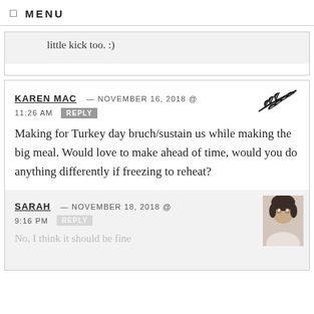MENU
little kick too. :)
KAREN MAC — NOVEMBER 16, 2018 @ 11:26 AM  REPLY
Making for Turkey day bruch/sustain us while making the big meal. Would love to make ahead of time, would you do anything differently if freezing to reheat?
SARAH — NOVEMBER 18, 2018 @ 9:16 PM  REPLY
No, I think it should be fine